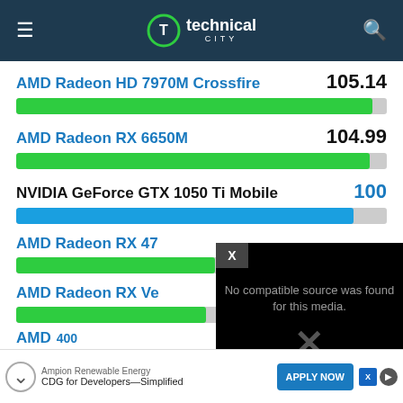technical city
AMD Radeon HD 7970M Crossfire
[Figure (bar-chart): GPU Performance Comparison]
AMD Radeon RX 6650M
NVIDIA GeForce GTX 1050 Ti Mobile
AMD Radeon RX 47xx (partial)
AMD Radeon RX Ve (partial)
[Figure (screenshot): Video player overlay showing 'No compatible source was found for this media.' with a large X icon on black background]
AMD ... 400 ... 3.03 (partial row at bottom)